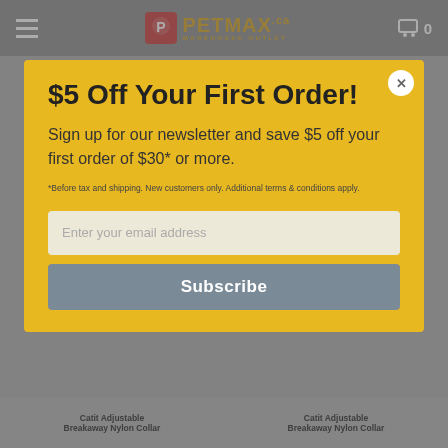PETMAX WAREHOUSE OUTLET — Navigation bar with cart (0 items)
Blue With Bows
Blue With Flowers
$8.00
$5 Off Your First Order!
Sign up for our newsletter and save $5 off your first order of $30* or more.
*Before tax and shipping. New customers only. Additional terms & conditions apply.
Enter your email address
Subscribe
Catit Adjustable Breakaway Nylon Collar
Catit Adjustable Breakaway Nylon Collar